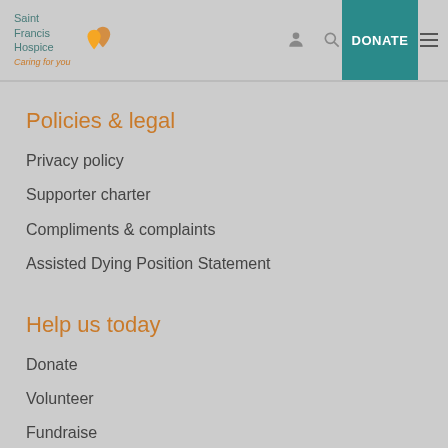Saint Francis Hospice Caring for you — DONATE
Policies & legal
Privacy policy
Supporter charter
Compliments & complaints
Assisted Dying Position Statement
Help us today
Donate
Volunteer
Fundraise
Legacy gifts
Shop